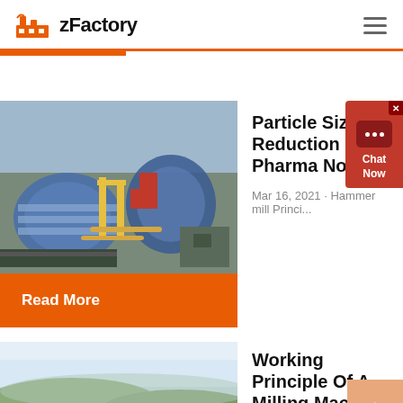zFactory
[Figure (photo): Aerial view of industrial mining/milling machinery with large rotating drums, pipes, and equipment in blue, red, and yellow colors]
Particle Size Reduction - Pharma Notes
Mar 16, 2021 · Hammer mill Princi...
Read More
[Figure (photo): Landscape photo showing open terrain under a light blue sky, likely a milling facility or open quarry site]
Working Principle Of A Milling Machine In